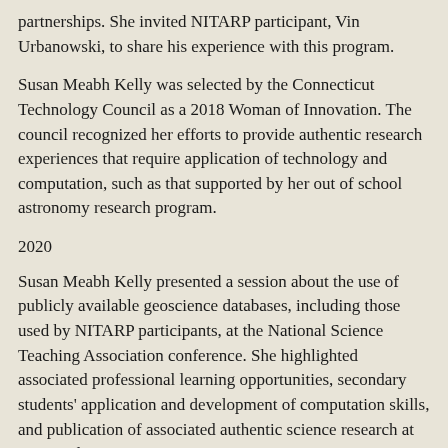partnerships. She invited NITARP participant, Vin Urbanowski, to share his experience with this program.
Susan Meabh Kelly was selected by the Connecticut Technology Council as a 2018 Woman of Innovation. The council recognized her efforts to provide authentic research experiences that require application of technology and computation, such as that supported by her out of school astronomy research program.
2020
Susan Meabh Kelly presented a session about the use of publicly available geoscience databases, including those used by NITARP participants, at the National Science Teaching Association conference. She highlighted associated professional learning opportunities, secondary students' application and development of computation skills, and publication of associated authentic science research at AAS and AGU.